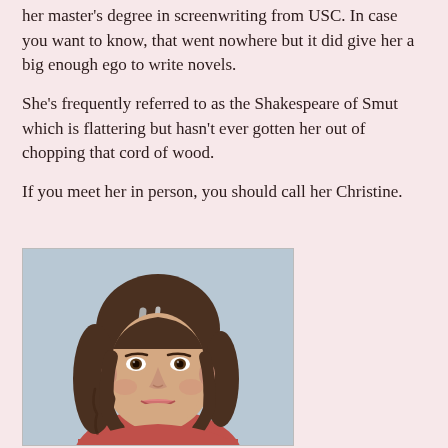her master's degree in screenwriting from USC. In case you want to know, that went nowhere but it did give her a big enough ego to write novels.
She's frequently referred to as the Shakespeare of Smut which is flattering but hasn't ever gotten her out of chopping that cord of wood.
If you meet her in person, you should call her Christine.
[Figure (photo): Portrait photo of a middle-aged woman with wavy brown and gray hair, looking directly at the camera, wearing a red top, against a light blue-gray background, shown from shoulders up.]